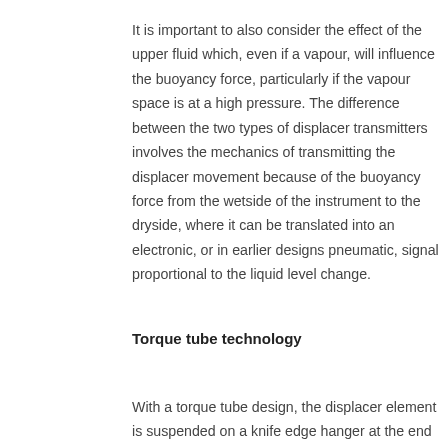It is important to also consider the effect of the upper fluid which, even if a vapour, will influence the buoyancy force, particularly if the vapour space is at a high pressure. The difference between the two types of displacer transmitters involves the mechanics of transmitting the displacer movement because of the buoyancy force from the wetside of the instrument to the dryside, where it can be translated into an electronic, or in earlier designs pneumatic, signal proportional to the liquid level change.
Torque tube technology
With a torque tube design, the displacer element is suspended on a knife edge hanger at the end of a cantilever arm, the other end of which is welded to the